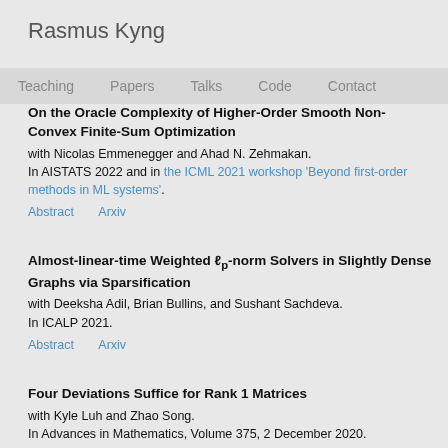Rasmus Kyng
Teaching  Papers  Talks  Code  Contact
On the Oracle Complexity of Higher-Order Smooth Non-Convex Finite-Sum Optimization
with Nicolas Emmenegger and Ahad N. Zehmakan.
In AISTATS 2022 and in the ICML 2021 workshop 'Beyond first-order methods in ML systems'.
Abstract    Arxiv
Almost-linear-time Weighted ℓ_p-norm Solvers in Slightly Dense Graphs via Sparsification
with Deeksha Adil, Brian Bullins, and Sushant Sachdeva.
In ICALP 2021.
Abstract    Arxiv
Four Deviations Suffice for Rank 1 Matrices
with Kyle Luh and Zhao Song.
In Advances in Mathematics, Volume 375, 2 December 2020.
Abstract    Arxiv    Journal